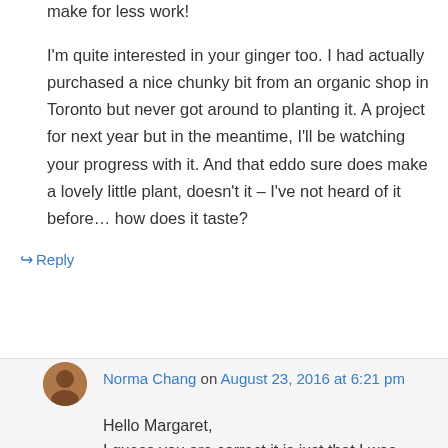make for less work! I'm quite interested in your ginger too. I had actually purchased a nice chunky bit from an organic shop in Toronto but never got around to planting it. A project for next year but in the meantime, I'll be watching your progress with it. And that eddo sure does make a lovely little plant, doesn't it – I've not heard of it before… how does it taste?
↪ Reply
Norma Chang on August 23, 2016 at 6:21 pm
Hello Margaret, I guess you are correct it is just that I was